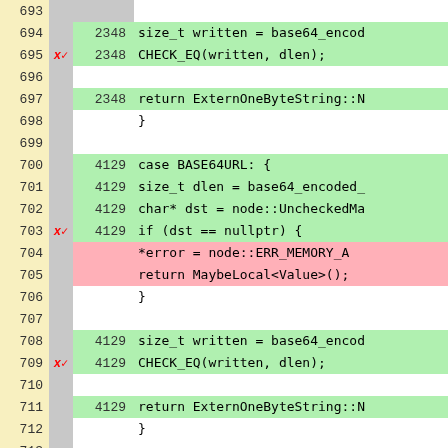[Figure (screenshot): Code coverage view showing C++ source lines 693-719 with line numbers, execution counts, and colored highlighting (green=covered, pink=uncovered, gray=not instrumented). Shows base64 encoding case handlers in a switch statement.]